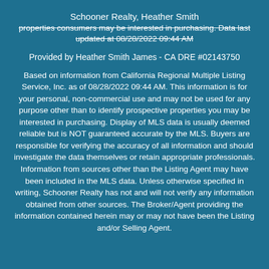Schooner Realty, Heather Smith
properties consumers may be interested in purchasing. Data last updated at 08/28/2022 09:44 AM
Provided by Heather Smith James - CA DRE #02143750
Based on information from California Regional Multiple Listing Service, Inc. as of 08/28/2022 09:44 AM. This information is for your personal, non-commercial use and may not be used for any purpose other than to identify prospective properties you may be interested in purchasing. Display of MLS data is usually deemed reliable but is NOT guaranteed accurate by the MLS. Buyers are responsible for verifying the accuracy of all information and should investigate the data themselves or retain appropriate professionals. Information from sources other than the Listing Agent may have been included in the MLS data. Unless otherwise specified in writing, Schooner Realty has not and will not verify any information obtained from other sources. The Broker/Agent providing the information contained herein may or may not have been the Listing and/or Selling Agent.